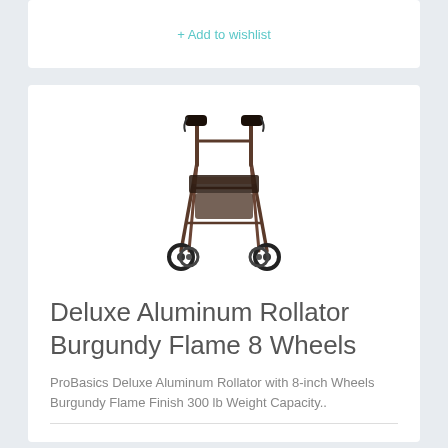+ Add to wishlist
[Figure (photo): Rollator walker with 8-inch wheels and burgundy flame finish, shown from front angle with handlebars, seat, and four wheels visible]
Deluxe Aluminum Rollator Burgundy Flame 8 Wheels
ProBasics Deluxe Aluminum Rollator with 8-inch Wheels Burgundy Flame Finish 300 lb Weight Capacity..
$110.63
ADD TO CART